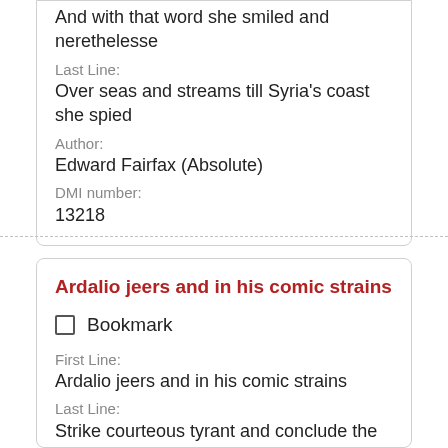And with that word she smiled and nevertheless
Last Line:
Over seas and streams till Syria's coast she spied
Author:
Edward Fairfax (Absolute)
DMI number:
13218
Ardalio jeers and in his comic strains
Bookmark
First Line:
Ardalio jeers and in his comic strains
Last Line:
Strike courteous tyrant and conclude the play
Author:
Isaac Watts (Absolute)